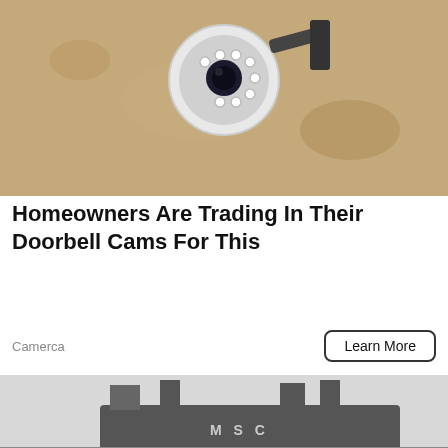[Figure (photo): Close-up photo of a circular security camera mounted on a sandy/textured wall surface]
Homeowners Are Trading In Their Doorbell Cams For This
Camerca
[Figure (photo): Photo of a large port/shipping yard filled with rows of SUVs and vehicles, with MSC cargo ship visible in background, chain-link fence in foreground]